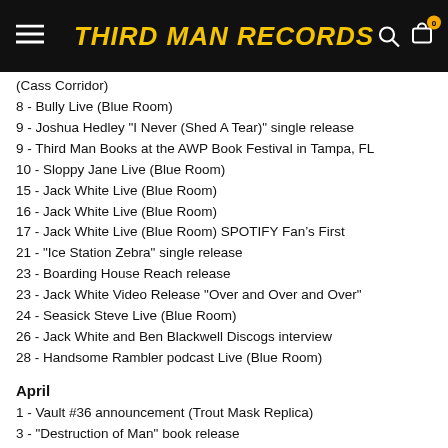THIRD MAN RECORDS
(Cass Corridor)
8 - Bully Live (Blue Room)
9 - Joshua Hedley "I Never (Shed A Tear)" single release
9 - Third Man Books at the AWP Book Festival in Tampa, FL
10 - Sloppy Jane Live (Blue Room)
15 - Jack White Live (Blue Room)
16 - Jack White Live (Blue Room)
17 - Jack White Live (Blue Room) SPOTIFY Fan's First
21 - "Ice Station Zebra" single release
23 - Boarding House Reach release
23 - Jack White Video Release "Over and Over and Over"
24 - Seasick Steve Live (Blue Room)
26 - Jack White and Ben Blackwell Discogs interview
28 - Handsome Rambler podcast Live (Blue Room)
April
1 - Vault #36 announcement (Trout Mask Replica)
3 - "Destruction of Man" book release
6 - "Destruction of Man" release party (Soft Junk)
6 - Supremes' Supremes Rarities release
6 - ...